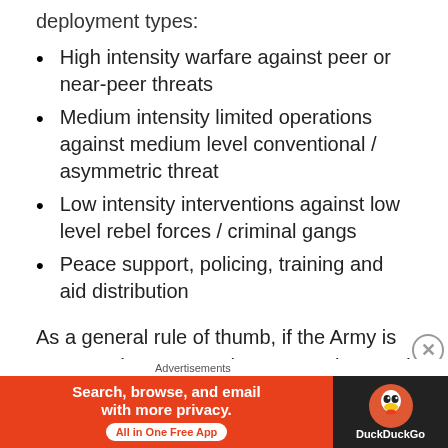deployment types:
High intensity warfare against peer or near-peer threats
Medium intensity limited operations against medium level conventional / asymmetric threat
Low intensity interventions against low level rebel forces / criminal gangs
Peace support, policing, training and aid distribution
As a general rule of thumb, if the Army is resourced to counter the most serious and potent threats, it should easily be able to adapt